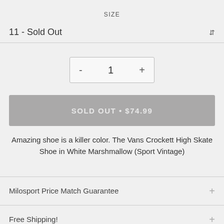SIZE
11 - Sold Out
- 1 +
SOLD OUT • $74.99
Amazing shoe is a killer color. The Vans Crockett High Skate Shoe in White Marshmallow (Sport Vintage)
Milosport Price Match Guarantee
Free Shipping!